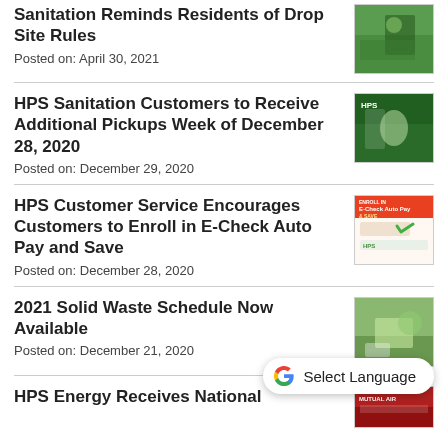Sanitation Reminds Residents of Drop Site Rules
Posted on: April 30, 2021
HPS Sanitation Customers to Receive Additional Pickups Week of December 28, 2020
Posted on: December 29, 2020
HPS Customer Service Encourages Customers to Enroll in E-Check Auto Pay and Save
Posted on: December 28, 2020
2021 Solid Waste Schedule Now Available
Posted on: December 21, 2020
HPS Energy Receives National